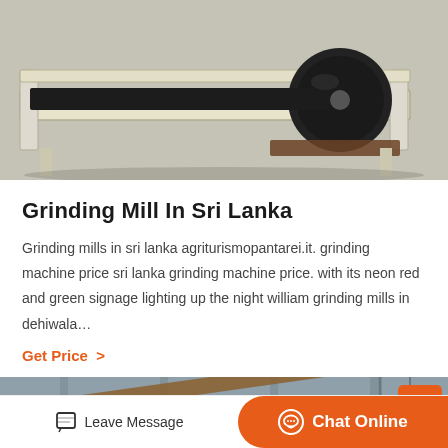[Figure (photo): Industrial grinding mill / conveyor belt machine on a factory floor, cream/beige colored frame with a large black roller, photographed from above at an angle.]
Grinding Mill In Sri Lanka
Grinding mills in sri lanka agriturismopantarei.it. grinding machine price sri lanka grinding machine price. with its neon red and green signage lighting up the night william grinding mills in dehiwala…
Get Price  >
[Figure (photo): Interior of an industrial facility with steel girders, conveyor belts and large machinery structures.]
Leave Message   Chat Online